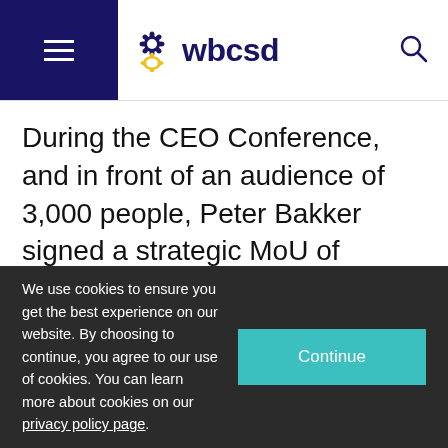wbcsd
During the CEO Conference, and in front of an audience of 3,000 people, Peter Bakker signed a strategic MoU of cooperation with Wang Yongqing, Vice Chairman of the All-China Federation of Industry and
We use cookies to ensure you get the best experience on our website. By choosing to continue, you agree to our use of cookies. You can learn more about cookies on our privacy policy page.